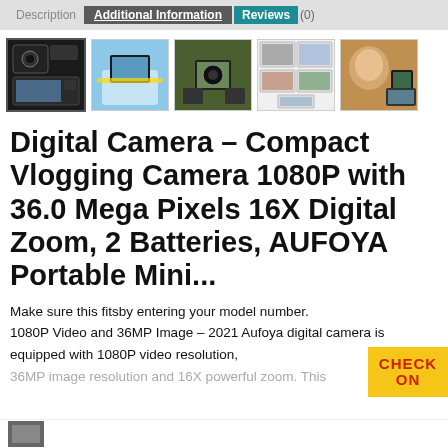Description  Additional Information  Reviews (0)
[Figure (photo): Row of five product thumbnail images of a digital camera]
Digital Camera – Compact Vlogging Camera 1080P with 36.0 Mega Pixels 16X Digital Zoom, 2 Batteries, AUFOYA Portable Mini...
Make sure this fitsby entering your model number. 1080P Video and 36MP Image – 2021 Aufoya digital camera is equipped with 1080P video resolution, 36MP image resolution and 16X powerful zoom. This